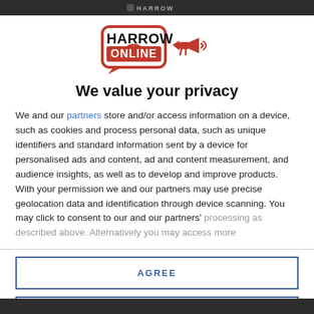HARROW
[Figure (logo): Harrow Online logo with megaphone icon]
We value your privacy
We and our partners store and/or access information on a device, such as cookies and process personal data, such as unique identifiers and standard information sent by a device for personalised ads and content, ad and content measurement, and audience insights, as well as to develop and improve products. With your permission we and our partners may use precise geolocation data and identification through device scanning. You may click to consent to our and our partners' processing as described above. Alternatively you may access more
AGREE
MORE OPTIONS